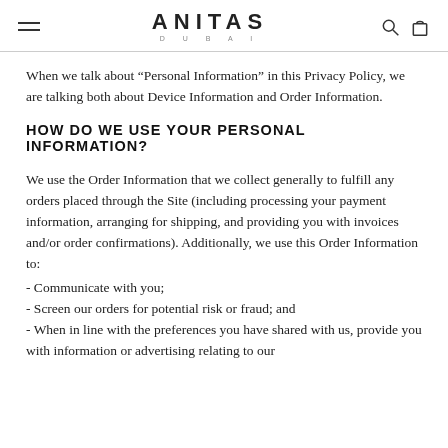ANITAS DUBAI
When we talk about “Personal Information” in this Privacy Policy, we are talking both about Device Information and Order Information.
HOW DO WE USE YOUR PERSONAL INFORMATION?
We use the Order Information that we collect generally to fulfill any orders placed through the Site (including processing your payment information, arranging for shipping, and providing you with invoices and/or order confirmations). Additionally, we use this Order Information to:
- Communicate with you;
- Screen our orders for potential risk or fraud; and
- When in line with the preferences you have shared with us, provide you with information or advertising relating to our